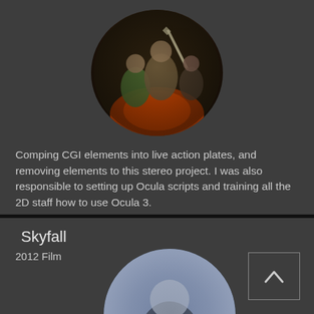[Figure (photo): Circular cropped movie poster image showing fantasy/action characters with swords against a dark fiery background]
Comping CGI elements into live action plates, and removing elements to this stereo project. I was also responsible to setting up Ocula scripts and training all the 2D staff how to use Ocula 3.
Skyfall
2012 Film
[Figure (photo): Circular cropped image of a person in a dark suit, blurred/soft focus, Skyfall movie related]